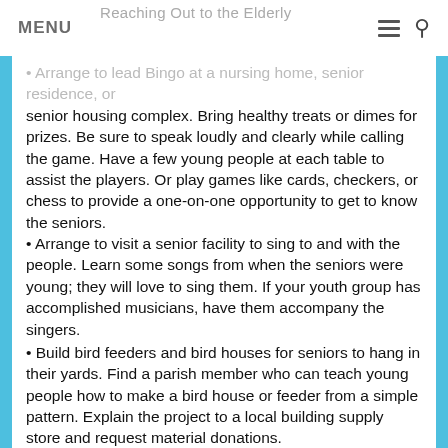MENU   Reaching Out to the Elderly
Arrange to lead Bingo at a nursing home, senior residence, or senior housing complex. Bring healthy treats or dimes for prizes. Be sure to speak loudly and clearly while calling the game. Have a few young people at each table to assist the players. Or play games like cards, checkers, or chess to provide a one-on-one opportunity to get to know the seniors.
Arrange to visit a senior facility to sing to and with the people. Learn some songs from when the seniors were young; they will love to sing them. If your youth group has accomplished musicians, have them accompany the singers.
Build bird feeders and bird houses for seniors to hang in their yards. Find a parish member who can teach young people how to make a bird house or feeder from a simple pattern. Explain the project to a local building supply store and request material donations.
Interview long-time members of the parish and put together a booklet or DVD of their stories and recollections. Make copies and share it with the whole community.
Host a “senior prom.” Decorate, serve healthy treats, and play music from your guests’ era. Dance with those who can, and encourage everyone to move to the music. Be sure that the hosts and hostesses dress well for this special occasion.
Reaching Out in Your Parish